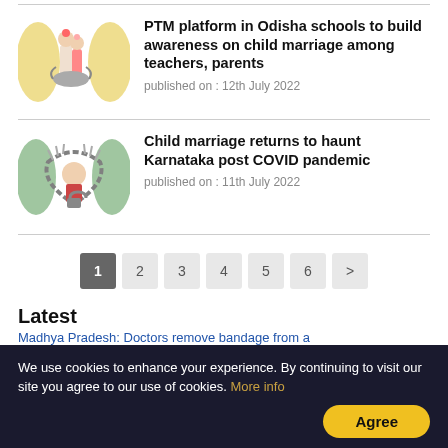[Figure (illustration): Illustration of child marriage - two children standing on rocks with flowers]
PTM platform in Odisha schools to build awareness on child marriage among teachers, parents
published on : 12th July 2022
[Figure (illustration): Illustration of child marriage - girl trapped in chains with lock]
Child marriage returns to haunt Karnataka post COVID pandemic
published on : 11th July 2022
1 2 3 4 5 6 >
Latest
Madhya Pradesh: Doctors remove bandage from a Woman, find condom wrapper
We use cookies to enhance your experience. By continuing to visit our site you agree to our use of cookies. More info